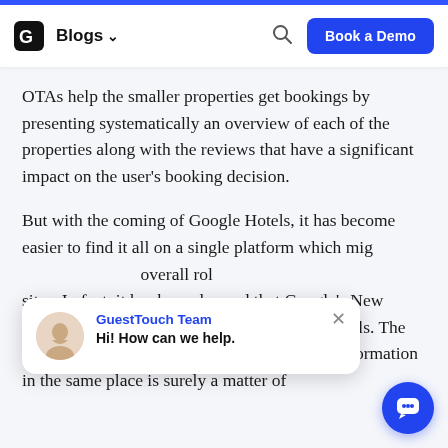Blogs  Book a Demo
OTAs help the smaller properties get bookings by presenting systematically an overview of each of the properties along with the reviews that have a significant impact on the user's booking decision.
But with the coming of Google Hotels, it has become easier to find it all on a single platform which mig[ht affect the OTAs'] overall rol[e compared to other booking] sites. In fact, it has been deemed that Google's New Hotel Search is a greater threat to Booking Rivals. The convenience of getting every single piec[e of] information in the same place is surely a matter of
[Figure (screenshot): Chat widget overlay showing GuestTouch Team avatar with message 'Hi! How can we help.' and a blue chat bubble button in the bottom-right corner]